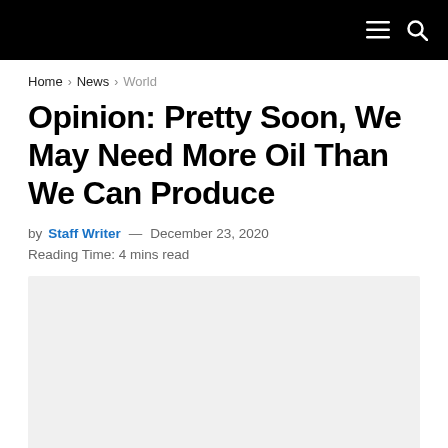Navigation bar with hamburger menu and search icon
Home > News > World
Opinion: Pretty Soon, We May Need More Oil Than We Can Produce
by Staff Writer — December 23, 2020  Reading Time: 4 mins read
[Figure (photo): Light gray image placeholder below the article byline]